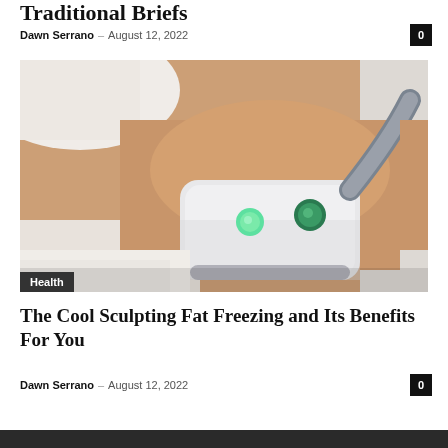Traditional Briefs
Dawn Serrano – August 12, 2022
[Figure (photo): A person lying down with a CoolSculpting fat-freezing device applied to their abdomen, wearing white towels/wraps. The device is white with two green indicator lights and a grey hose connected to it.]
Health
The Cool Sculpting Fat Freezing and Its Benefits For You
Dawn Serrano – August 12, 2022